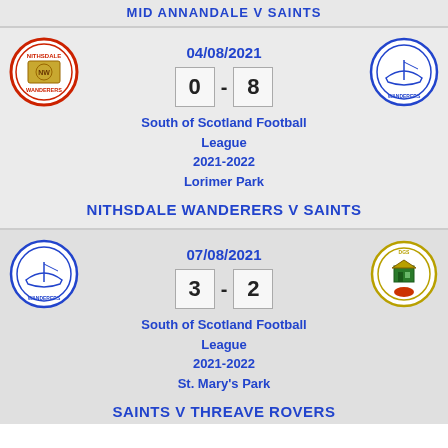MID ANNANDALE V SAINTS
04/08/2021
0 - 8
South of Scotland Football League
2021-2022
Lorimer Park
NITHSDALE WANDERERS V SAINTS
07/08/2021
3 - 2
South of Scotland Football League
2021-2022
St. Mary's Park
SAINTS V THREAVE ROVERS